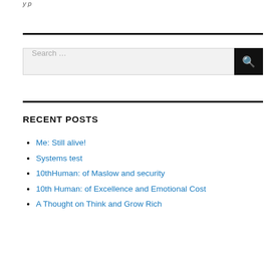RECENT POSTS
Me: Still alive!
Systems test
10thHuman: of Maslow and security
10th Human: of Excellence and Emotional Cost
A Thought on Think and Grow Rich